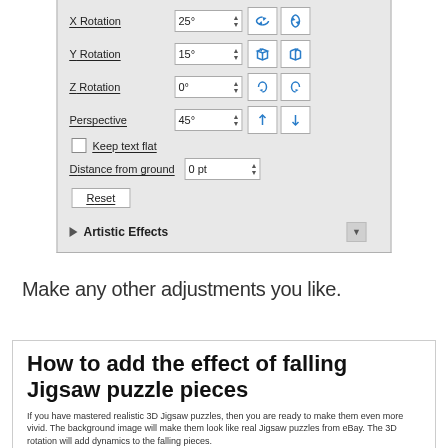[Figure (screenshot): Software UI panel showing 3D rotation settings: X Rotation 25°, Y Rotation 15°, Z Rotation 0°, Perspective 45°, Keep text flat checkbox, Distance from ground 0 pt, Reset button, and Artistic Effects section header with expand arrow.]
Make any other adjustments you like.
How to add the effect of falling Jigsaw puzzle pieces
If you have mastered realistic 3D Jigsaw puzzles, then you are ready to make them even more vivid. The background image will make them look like real Jigsaw puzzles from eBay. The 3D rotation will add dynamics to the falling pieces.